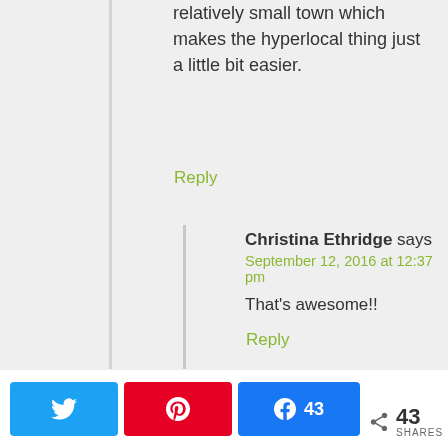relatively small town which makes the hyperlocal thing just a little bit easier.
Reply
Christina Ethridge says
September 12, 2016 at 12:37 pm
That's awesome!!
Reply
43 SHARES